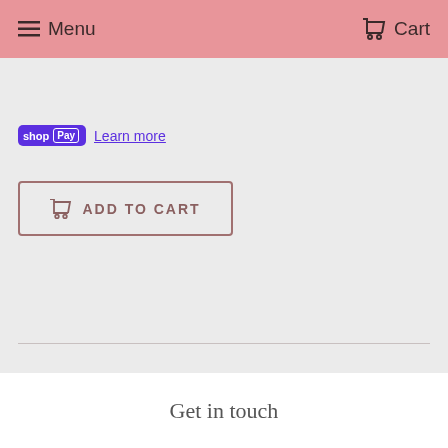Menu  Cart
shop Pay  Learn more
[ ADD TO CART
Share  Tweet  Pin it
Get in touch